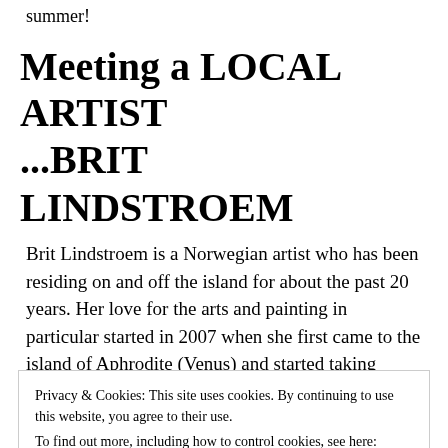summer!
Meeting a LOCAL ARTIST
...BRIT LINDSTROEM
Brit Lindstroem is a Norwegian artist who has been residing on and off the island for about the past 20 years. Her love for the arts and painting in particular started in 2007 when she first came to the island of Aphrodite (Venus) and started taking
Privacy & Cookies: This site uses cookies. By continuing to use this website, you agree to their use.
To find out more, including how to control cookies, see here: Cookie Policy
Close and accept